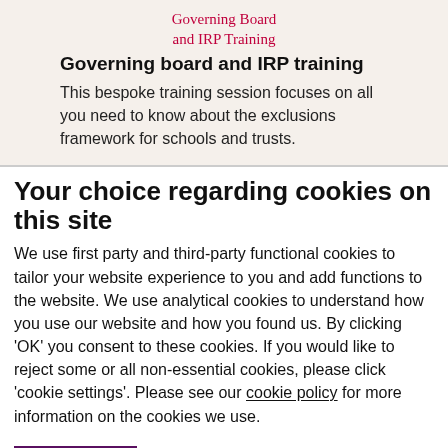[Figure (logo): Governing Board and IRP Training logo in handwritten red script style]
Governing board and IRP training
This bespoke training session focuses on all you need to know about the exclusions framework for schools and trusts.
Your choice regarding cookies on this site
We use first party and third-party functional cookies to tailor your website experience to you and add functions to the website. We use analytical cookies to understand how you use our website and how you found us. By clicking 'OK' you consent to these cookies. If you would like to reject some or all non-essential cookies, please click 'cookie settings'. Please see our cookie policy for more information on the cookies we use.
OK
Cookie Settings